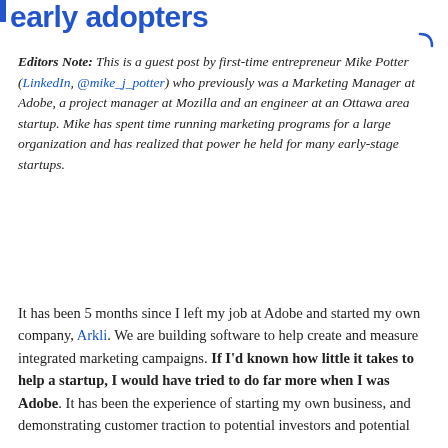early adopters
Editors Note: This is a guest post by first-time entrepreneur Mike Potter (LinkedIn, @mike_j_potter) who previously was a Marketing Manager at Adobe, a project manager at Mozilla and an engineer at an Ottawa area startup. Mike has spent time running marketing programs for a large organization and has realized that power he held for many early-stage startups.
It has been 5 months since I left my job at Adobe and started my own company, Arkli. We are building software to help create and measure integrated marketing campaigns. If I'd known how little it takes to help a startup, I would have tried to do far more when I was Adobe. It has been the experience of starting my own business, and demonstrating customer traction to potential investors and potential